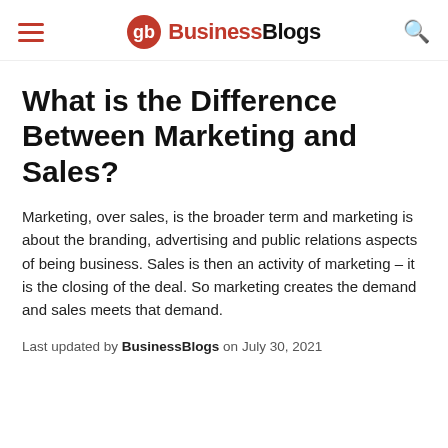BusinessBlogs
What is the Difference Between Marketing and Sales?
Marketing, over sales, is the broader term and marketing is about the branding, advertising and public relations aspects of being business. Sales is then an activity of marketing – it is the closing of the deal. So marketing creates the demand and sales meets that demand.
Last updated by BusinessBlogs on July 30, 2021